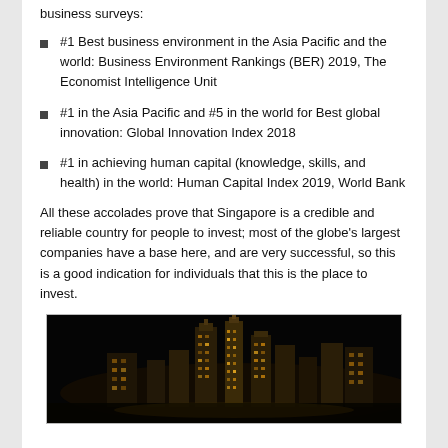business surveys:
#1 Best business environment in the Asia Pacific and the world: Business Environment Rankings (BER) 2019, The Economist Intelligence Unit
#1 in the Asia Pacific and #5 in the world for Best global innovation: Global Innovation Index 2018
#1 in achieving human capital (knowledge, skills, and health) in the world: Human Capital Index 2019, World Bank
All these accolades prove that Singapore is a credible and reliable country for people to invest; most of the globe's largest companies have a base here, and are very successful, so this is a good indication for individuals that this is the place to invest.
[Figure (photo): Night skyline photo of Singapore city buildings lit up against a dark sky, showing multiple illuminated skyscrapers]